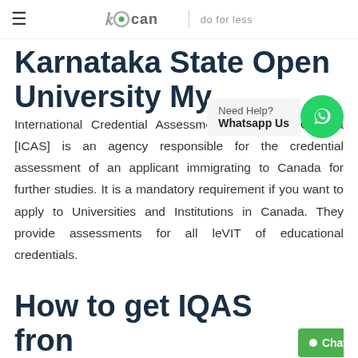≡  Gcan | do for less
Karnataka State Open University My
Need Help? Whatsapp Us
International Credential Assessment Service of Canada [ICAS] is an agency responsible for the credential assessment of an applicant immigrating to Canada for further studies. It is a mandatory requirement if you want to apply to Universities and Institutions in Canada. They provide assessments for all leVIT of educational credentials.
How to get IQAS fron